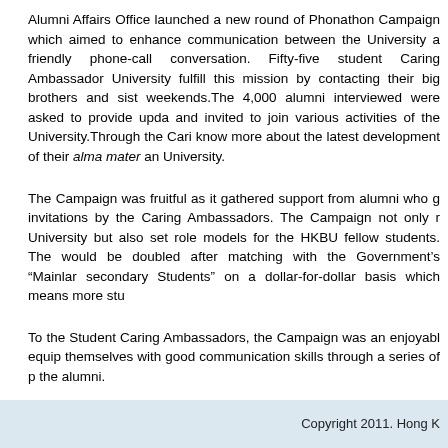Alumni Affairs Office launched a new round of Phonathon Campaign which aimed to enhance communication between the University a friendly phone-call conversation. Fifty-five student Caring Ambassador University fulfill this mission by contacting their big brothers and sist weekends.The 4,000 alumni interviewed were asked to provide upda and invited to join various activities of the University.Through the Cari know more about the latest development of their alma mater an University.
The Campaign was fruitful as it gathered support from alumni who g invitations by the Caring Ambassadors. The Campaign not only r University but also set role models for the HKBU fellow students. The would be doubled after matching with the Government's "Mainlar secondary Students" on a dollar-for-dollar basis which means more stu
To the Student Caring Ambassadors, the Campaign was an enjoyabl equip themselves with good communication skills through a series of p the alumni.
Copyright 2011. Hong K